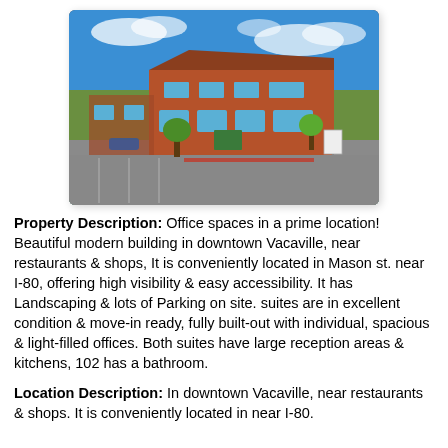[Figure (photo): Exterior photo of a modern brick office building in downtown Vacaville, with a large parking lot in the foreground, trees, and a blue sky with clouds.]
Property Description: Office spaces in a prime location! Beautiful modern building in downtown Vacaville, near restaurants & shops, It is conveniently located in Mason st. near I-80, offering high visibility & easy accessibility. It has Landscaping & lots of Parking on site. suites are in excellent condition & move-in ready, fully built-out with individual, spacious & light-filled offices. Both suites have large reception areas & kitchens, 102 has a bathroom.
Location Description: In downtown Vacaville, near restaurants & shops. It is conveniently located in near I-80.